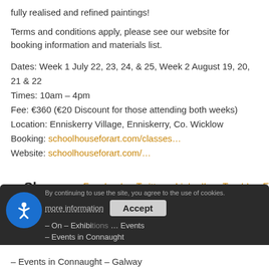fully realised and refined paintings!
Terms and conditions apply, please see our website for booking information and materials list.
Dates: Week 1 July 22, 23, 24, & 25, Week 2 August 19, 20, 21 & 22
Times: 10am – 4pm
Fee: €360 (€20 Discount for those attending both weeks)
Location: Enniskerry Village, Enniskerry, Co. Wicklow
Booking: schoolhouseforart.com/classes…
Website: schoolhouseforart.com/…
Share: Facebook Twitter LinkedIn Tumblr Email
By continuing to use the site, you agree to the use of cookies. more information Accept
– On – Exhibitions … Events
– Events in Connaught
– Events in Connaught – Galway